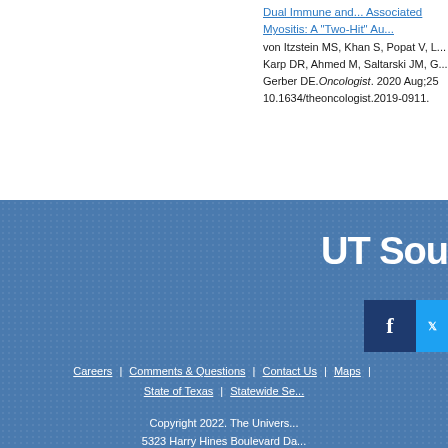Dual Immune and... Associated Myositis: A "Two-Hit" Au... von Itzstein MS, Khan S, Popat V, L... Karp DR, Ahmed M, Saltarski JM, G... Gerber DE.Oncologist. 2020 Aug;25 10.1634/theoncologist.2019-0911.
[Figure (logo): UT Southwestern logo text partially visible: 'UT Sou']
[Figure (screenshot): Facebook icon (dark blue square with white 'f') and Twitter icon (light blue square) partially visible]
Careers | Comments & Questions | Contact Us | Maps | State of Texas | Statewide Se... Copyright 2022. The Univers... 5323 Harry Hines Boulevard Da...